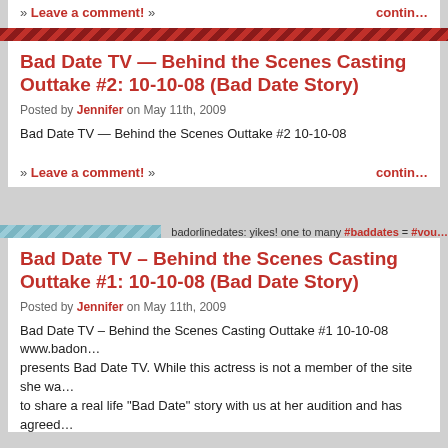» Leave a comment! »    contin…
Bad Date TV — Behind the Scenes Casting Outtake #2: 10-10-08 (Bad Date Story)
Posted by Jennifer on May 11th, 2009
Bad Date TV — Behind the Scenes Outtake #2 10-10-08
» Leave a comment! »    contin…
badorlinedates: yikes! one to many #baddates = #you…
Bad Date TV – Behind the Scenes Casting Outtake #1: 10-10-08 (Bad Date Story)
Posted by Jennifer on May 11th, 2009
Bad Date TV – Behind the Scenes Casting Outtake #1 10-10-08 www.badon… presents Bad Date TV. While this actress is not a member of the site she wa… to share a real life "Bad Date" story with us at her audition and has agreed… on the cast as Bad Date Betty.
» Leave a comment! »    contin…